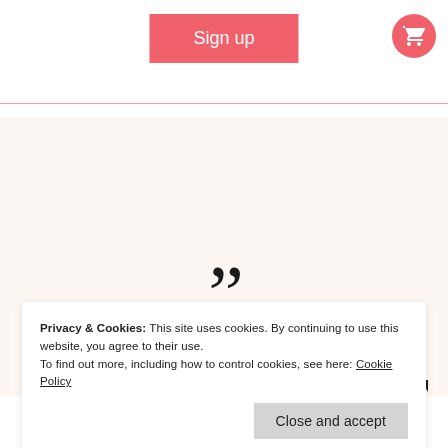Sign up
[Figure (other): Shopping cart icon in pink circle]
Privacy & Cookies: This site uses cookies. By continuing to use this website, you agree to their use. To find out more, including how to control cookies, see here: Cookie Policy
Close and accept
Thank you"